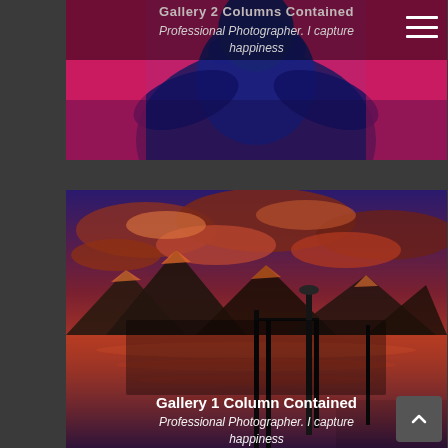[Figure (photo): Person with blue dramatic lighting against pink/magenta background, top portion of gallery page]
Gallery 2 Columns Contained
Professional Photographer. I capture happiness
[Figure (photo): Mountain lake sunset scene with dramatic red-orange sky and clouds, dock in foreground]
Gallery 1 Column Contained
Professional Photographer. I capture happiness